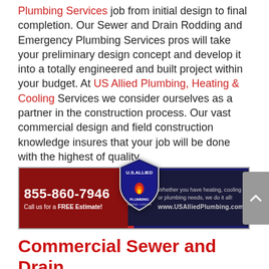Plumbing Services job from initial design to final completion. Our Sewer and Drain Rodding and Emergency Plumbing Services pros will take your preliminary design concept and develop it into a totally engineered and built project within your budget. At US Allied Plumbing, Heating & Cooling Services we consider ourselves as a partner in the construction process. Our vast commercial design and field construction knowledge insures that your job will be done with the highest of quality.
[Figure (infographic): US Allied Plumbing advertisement banner with phone number 855-860-7946, shield logo, and website www.USAlliedPlumbing.com]
Commercial Sewer and Drain Rodding and Emergency